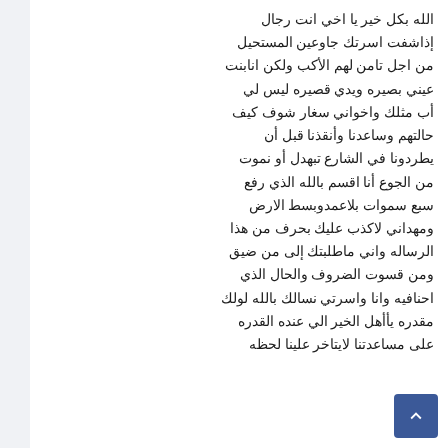الله بكل خير يا اخي انت رجال إذاشفت اسرتك جاوعين المستحيل من اجل تامن لهم الأكب ولكن انابنت عيني بصيره ويدي قصيره ليس لي أب مثلك واخواني سغار شوف كيف حالتهم وساعدنا وأنقذنا قبل أن يطردونا في الشارع تبهدل أو نموت من الجوع أنا اقسم بالله الذي رفع سبع سموات بلاعمدوبسط الارض ومهداني لاكذب عليك بحرف من هذا الرساله واني ماطلبتك إلى من ضيق ومن قسوت الضروف والحال الذي احنافيه وانا واسرتي نسالك بالله لولك مقدره يأأهل الخير الي عنده القدره على مساعدتنا لايتاخر علينا لحظه